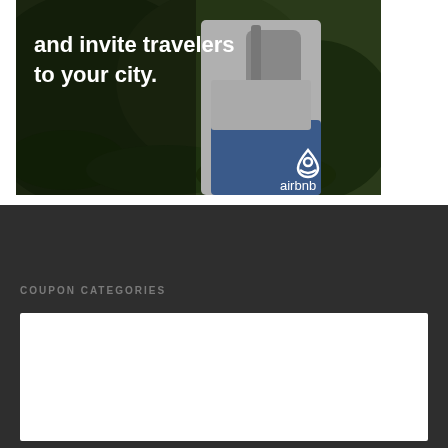[Figure (photo): Airbnb advertisement showing a person with a backpack in a forest setting, with white text reading 'and invite travelers to your city.' and the Airbnb logo in the bottom right corner.]
COUPON CATEGORIES